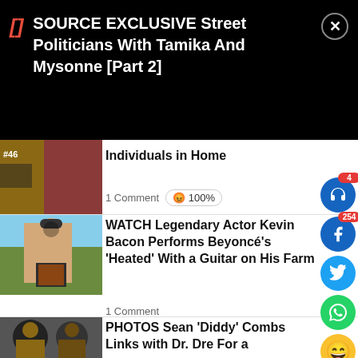SOURCE EXCLUSIVE Street Politicians With Tamika And Mysonne [Part 2]
Individuals in Home
1 Comment  😡 100%
WATCH Legendary Actor Kevin Bacon Performs Beyoncé's 'Heated' With a Guitar on His Farm
1 Comment
PHOTOS Sean 'Diddy' Combs Links with Dr. Dre For a